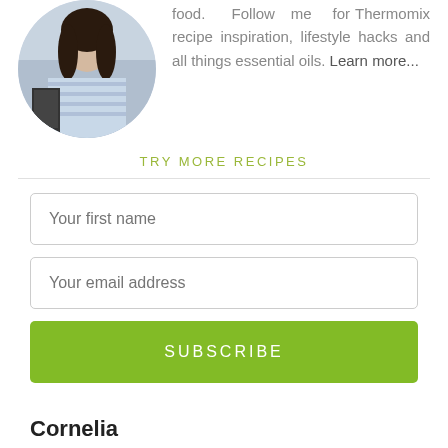[Figure (photo): Circular profile photo of a woman in a blue striped off-shoulder top standing next to a Thermomix appliance]
food. Follow me for Thermomix recipe inspiration, lifestyle hacks and all things essential oils. Learn more...
TRY MORE RECIPES
Your first name
Your email address
SUBSCRIBE
Cornelia